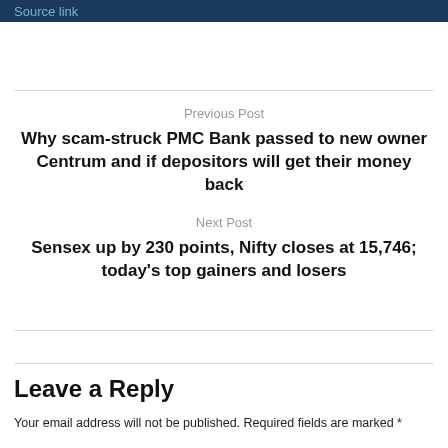Source link
Previous Post
Why scam-struck PMC Bank passed to new owner Centrum and if depositors will get their money back
Next Post
Sensex up by 230 points, Nifty closes at 15,746; today's top gainers and losers
Leave a Reply
Your email address will not be published. Required fields are marked *